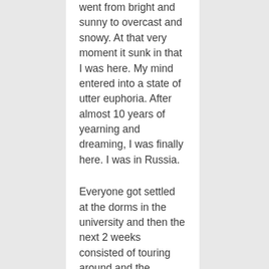went from bright and sunny to overcast and snowy. At that very moment it sunk in that I was here. My mind entered into a state of utter euphoria. After almost 10 years of yearning and dreaming, I was finally here. I was in Russia.
Everyone got settled at the dorms in the university and then the next 2 weeks consisted of touring around and the program directors showed us the ropes and whatnot. One of the first things I saw was a giant ship called the “Aurora.” She was used in the Russo-Japanese war but she was also played an